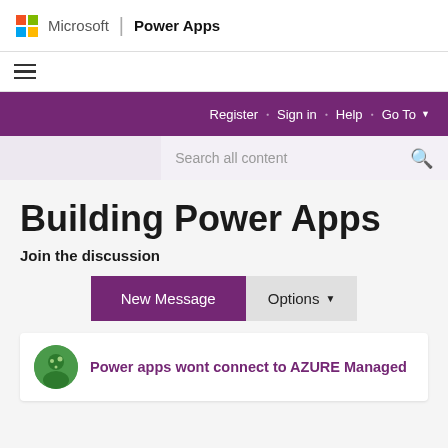Microsoft | Power Apps
[Figure (screenshot): Microsoft logo with four colored squares (red, green, blue, yellow)]
Register · Sign in · Help · Go To
Search all content
Building Power Apps
Join the discussion
New Message
Options
Power apps wont connect to AZURE Managed